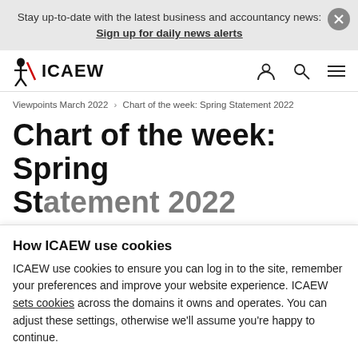Stay up-to-date with the latest business and accountancy news: Sign up for daily news alerts
[Figure (logo): ICAEW logo with figure and red slash]
Viewpoints March 2022 > Chart of the week: Spring Statement 2022
Chart of the week: Spring Statement 2022
How ICAEW use cookies
ICAEW use cookies to ensure you can log in to the site, remember your preferences and improve your website experience. ICAEW sets cookies across the domains it owns and operates. You can adjust these settings, otherwise we'll assume you're happy to continue.